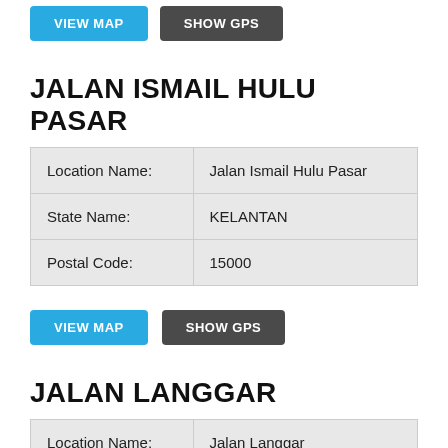[Figure (screenshot): Two buttons at top: VIEW MAP (blue) and SHOW GPS (dark gray), partially visible]
JALAN ISMAIL HULU PASAR
| Location Name: | Jalan Ismail Hulu Pasar |
| State Name: | KELANTAN |
| Postal Code: | 15000 |
[Figure (screenshot): Two buttons: VIEW MAP (blue) and SHOW GPS (dark gray)]
JALAN LANGGAR
| Location Name: | Jalan Langgar |
| State Name: | KELANTAN |